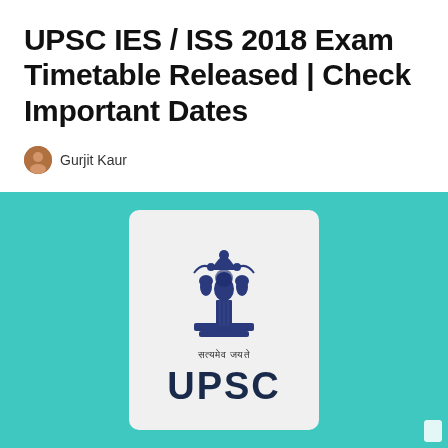UPSC IES / ISS 2018 Exam Timetable Released | Check Important Dates
Gurjit Kaur
[Figure (illustration): Teal/turquoise background with a centered white card showing the Indian national emblem (Ashoka Lion Capital) at the top, 'सत्यमेव जयते' in Devanagari script below the emblem, and 'UPSC' in large bold dark letters at the bottom of the card.]